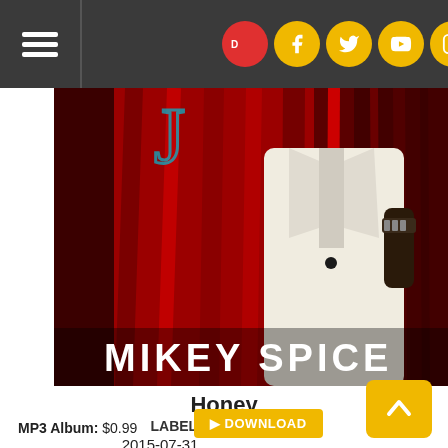Navigation bar with hamburger menu, Discogs logo, Facebook, Twitter, YouTube, Instagram, Email icons
[Figure (photo): Album cover photo of Mikey Spice in a white suit against red curtains background, with text 'MIKEY SPICE' at the bottom]
Honey
LABEL: Upstairs Music
2015-07-31
MP3 Album: $0.99
DOWNLOAD